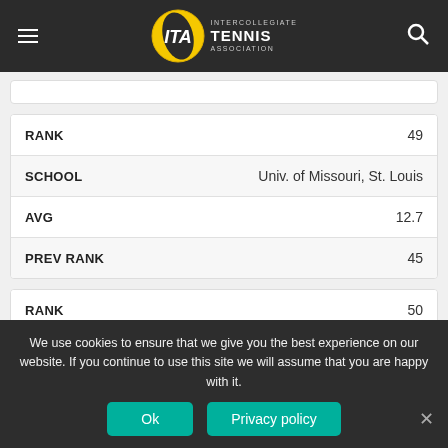ITA Intercollegiate Tennis Association
| Field | Value |
| --- | --- |
| RANK | 49 |
| SCHOOL | Univ. of Missouri, St. Louis |
| AVG | 12.7 |
| PREV RANK | 45 |
| Field | Value |
| --- | --- |
| RANK | 50 |
| SCHOOL | Augusta University |
We use cookies to ensure that we give you the best experience on our website. If you continue to use this site we will assume that you are happy with it.